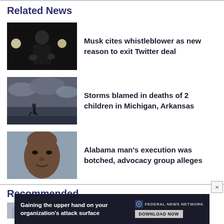Related News
[Figure (photo): Person in dark clothing speaking on stage with bright lights behind them (Elon Musk)]
Musk cites whistleblower as new reason to exit Twitter deal
[Figure (photo): A person walking on a beach under stormy cloudy skies]
Storms blamed in deaths of 2 children in Michigan, Arkansas
[Figure (photo): Headshot of a man against a light blue background]
Alabama man's execution was botched, advocacy group alleges
Recommended
[Figure (photo): Partial view of a building thumbnail in the recommended section]
[Figure (other): Advertisement banner: Gaining the upper hand on your organization's attack surface — Federal News Network — DOWNLOAD NOW]